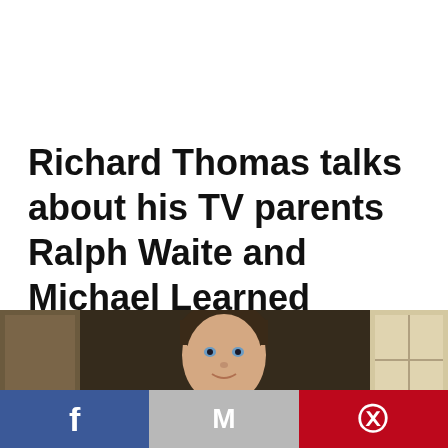Richard Thomas talks about his TV parents Ralph Waite and Michael Learned
[Figure (photo): A young man with dark hair and blue eyes, wearing a white shirt with suspenders, smiling, photographed indoors with a decorative backdrop and window visible.]